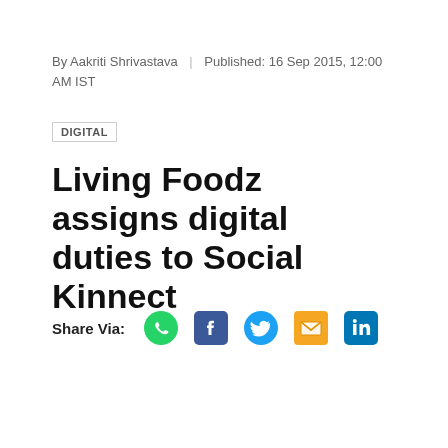By Aakriti Shrivastava | Published: 16 Sep 2015, 12:00 AM IST
DIGITAL
Living Foodz assigns digital duties to Social Kinnect
Share Via: